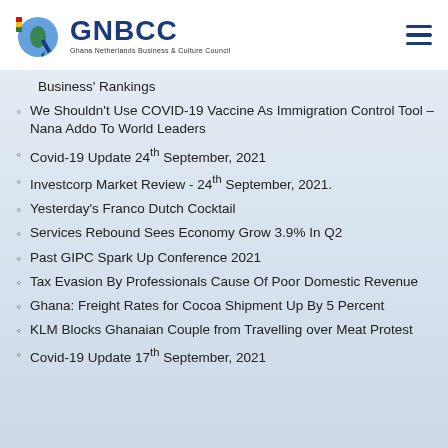[Figure (logo): GNBCC logo — Ghana Netherlands Business & Culture Council with globe and flag icon]
Business' Rankings
We Shouldn't Use COVID-19 Vaccine As Immigration Control Tool – Nana Addo To World Leaders
Covid-19 Update 24th September, 2021
Investcorp Market Review - 24th September, 2021.
Yesterday's Franco Dutch Cocktail
Services Rebound Sees Economy Grow 3.9% In Q2
Past GIPC Spark Up Conference 2021
Tax Evasion By Professionals Cause Of Poor Domestic Revenue
Ghana: Freight Rates for Cocoa Shipment Up By 5 Percent
KLM Blocks Ghanaian Couple from Travelling over Meat Protest
Covid-19 Update 17th September, 2021